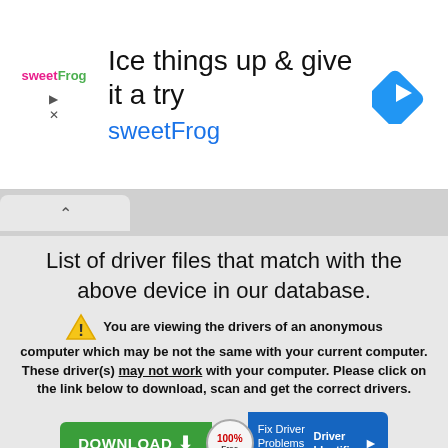[Figure (screenshot): Advertisement banner for sweetFrog frozen yogurt. Shows sweetFrog logo on left, headline 'Ice things up & give it a try' and 'sweetFrog' in blue text, with a blue diamond navigation icon on the right. Play and close buttons visible on left side.]
[Figure (screenshot): Browser tab bar with a single tab showing a caret/up arrow symbol, indicating a browser interface element.]
List of driver files that match with the above device in our database.
You are viewing the drivers of an anonymous computer which may be not the same with your current computer. These driver(s) may not work with your computer. Please click on the link below to download, scan and get the correct drivers.
[Figure (screenshot): Download button bar: green 'DOWNLOAD' button with down arrow chevron, a circular '100% Free' badge, and a blue 'Fix Driver Problems With Driver Identifier' button with a play arrow.]